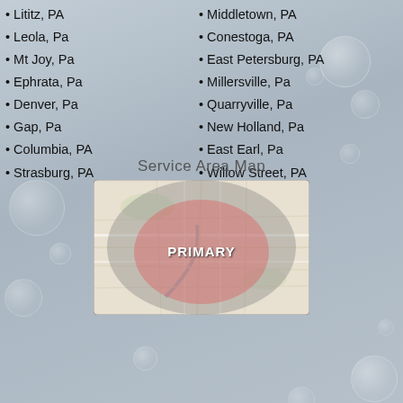• Lititz, PA
• Leola, Pa
• Mt Joy, Pa
• Ephrata, Pa
• Denver, Pa
• Gap, Pa
• Columbia, PA
• Strasburg, PA
• Middletown, PA
• Conestoga, PA
• East Petersburg, PA
• Millersville, Pa
• Quarryville, Pa
• New Holland, Pa
• East Earl, Pa
• Willow Street, PA
Service Area Map
[Figure (map): Service area map showing PRIMARY coverage zone as a pink/red circle overlaid on a road map of Lancaster County PA area, with a larger grey secondary zone circle. The word PRIMARY appears in bold white text in the center of the pink zone.]